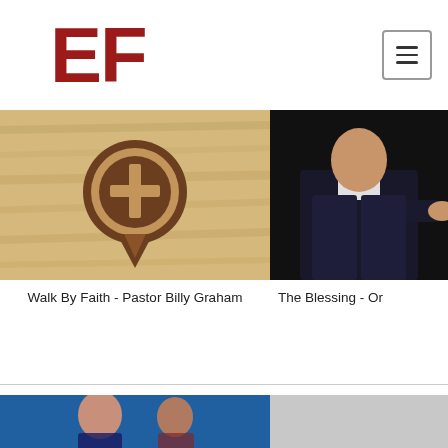EF
[Figure (photo): Wooden floor with an inlaid cross inside a circle/pin shape]
[Figure (photo): Person in dark suit speaking or presenting, dark background]
Walk By Faith - Pastor Billy Graham
The Blessing - Or
[Figure (photo): Two people visible on a blue background, partially visible at bottom]
[Figure (photo): Light gray image, partially visible at bottom right]